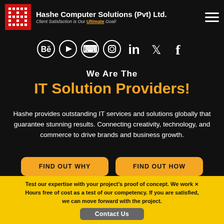Hashe Computer Solutions (Pvt) Ltd. — Client Satisfaction is Our Ultimate Goal!
[Figure (logo): Red square logo with white H letter mark for Hashe Computer Solutions]
Social media icons: Behance, YouTube, Pinterest, Instagram, LinkedIn, Twitter, Facebook
We Are The IT Solution Providers!
Hashe provides outstanding IT services and solutions globally that guarantee stunning results. Connecting creativity, technology, and commerce to drive brands and business growth.
FIND OUT WHY
FIND OUT HOW
Test our expertise with your project's proof of concept. We work Hours free of cost as a test of our competency. If you are satisfied, we can move forward with the project.
Contact Us